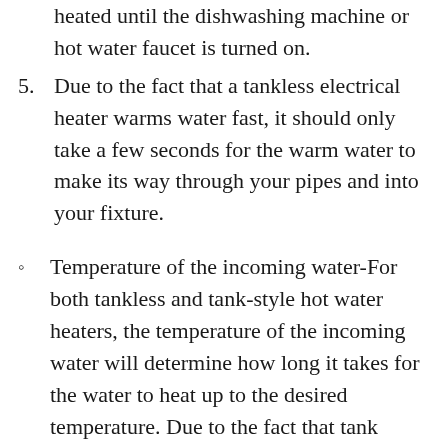heated until the dishwashing machine or hot water faucet is turned on.
Due to the fact that a tankless electrical heater warms water fast, it should only take a few seconds for the warm water to make its way through your pipes and into your fixture.
Temperature of the incoming water-For both tankless and tank-style hot water heaters, the temperature of the incoming water will determine how long it takes for the water to heat up to the desired temperature. Due to the fact that tank heating systems conserve water while still maintaining a constant temperature, the incoming temperature should not have a significant impact. Tankless heating systems, on the other hand, supply incoming water as needed, only a few seconds